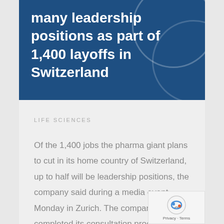many leadership positions as part of 1,400 layoffs in Switzerland
LIFE SCIENCES
Of the 1,400 jobs the pharma giant plans to cut in its home country of Switzerland, up to half will be leadership positions, the company said during a media event Monday in Zurich. The company has completed its consultation process with executives. A Novartis spokesperson added that notices to